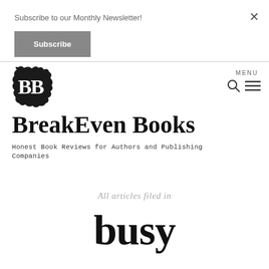Subscribe to our Monthly Newsletter!
Subscribe
[Figure (logo): BreakEven Books logo — stylized black ink-splatter shape with white BB letters]
BreakEven Books
Honest Book Reviews for Authors and Publishing Companies
All articles filed in
busy